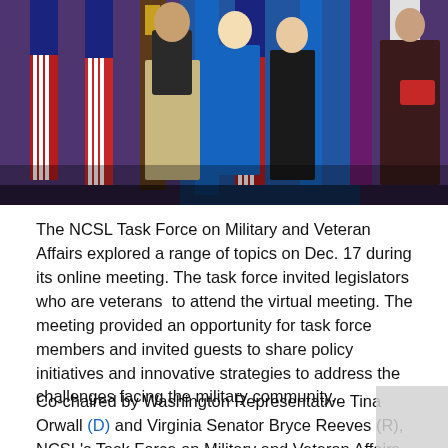[Figure (photo): People standing in front of American flags and military branch flags on a stage, likely at an official government or military event.]
The NCSL Task Force on Military and Veteran Affairs explored a range of topics on Dec. 17 during its online meeting. The task force invited legislators who are veterans  to attend the virtual meeting. The meeting provided an opportunity for task force members and invited guests to share policy initiatives and innovative strategies to address the challenges facing the military community.
Co-chaired by Washington Representative Tina Orwall (D) and Virginia Senator Bryce Reeves (R), NCSL's Task Force on Military and Veteran Affairs addresses efforts...